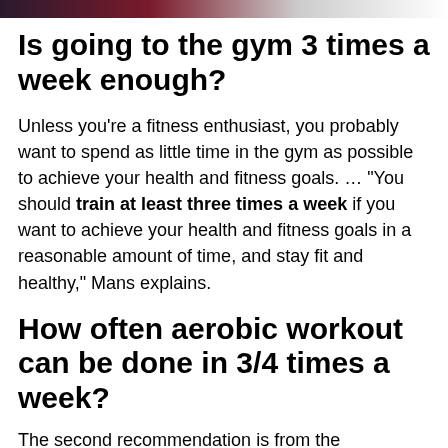[Figure (photo): Partial image strip at the top of the page showing dark/colorful photo content]
Is going to the gym 3 times a week enough?
Unless you're a fitness enthusiast, you probably want to spend as little time in the gym as possible to achieve your health and fitness goals. … "You should train at least three times a week if you want to achieve your health and fitness goals in a reasonable amount of time, and stay fit and healthy," Mans explains.
How often aerobic workout can be done in 3/4 times a week?
The second recommendation is from the